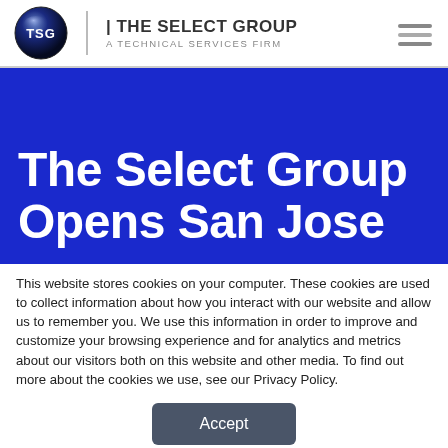THE SELECT GROUP | A TECHNICAL SERVICES FIRM
The Select Group Opens San Jose
This website stores cookies on your computer. These cookies are used to collect information about how you interact with our website and allow us to remember you. We use this information in order to improve and customize your browsing experience and for analytics and metrics about our visitors both on this website and other media. To find out more about the cookies we use, see our Privacy Policy.
Accept